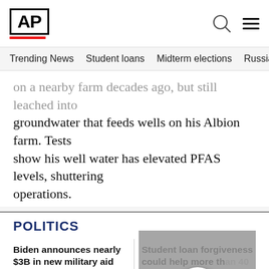AP
Trending News | Student loans | Midterm elections | Russia-Ukr
on a nearby farm decades ago, but still leached into groundwater that feeds wells on his Albion farm. Tests show his well water has elevated PFAS levels, shuttering operations.
POLITICS
Biden announces nearly $3B in new military aid for Ukraine
Student loan forgiveness could help more than 40 million
'Pre-bunking' shows promise in fight against misinformation
Gender dysphoria covered by disability...